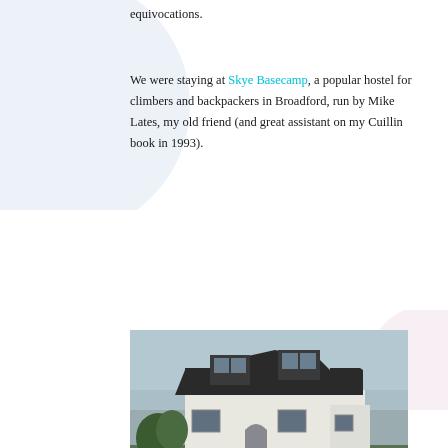equivocations.
We were staying at Skye Basecamp, a popular hostel for climbers and backpackers in Broadford, run by Mike Lates, my old friend (and great assistant on my Cuillin book in 1993).
[Figure (photo): Exterior photograph of Skye Basecamp hostel, a white bungalow-style building with dormer windows, green lawn, stone wall with SKYE BASECAMP sign, and a blue car parked in front.]
Perhaps the greatest benefit of the hostel is the extraordinary number of young, intelligent international